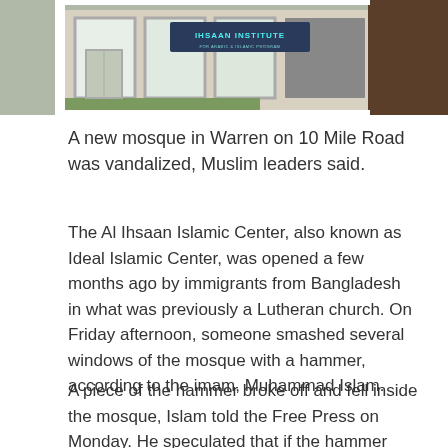[Figure (photo): Exterior photo of Al Ihsaan Institute building with glass windows and signage visible]
A new mosque in Warren on 10 Mile Road was vandalized, Muslim leaders said.
The Al Ihsaan Islamic Center, also known as Ideal Islamic Center, was opened a few months ago by immigrants from Bangladesh in what was previously a Lutheran church. On Friday afternoon, someone smashed several windows of the mosque with a hammer, according to the imam, Muhammad Islam.
A piece of the hammer broke off and fell inside the mosque, Islam told the Free Press on Monday. He speculated that if the hammer had not broken, more of the mosque might have been vandalized.